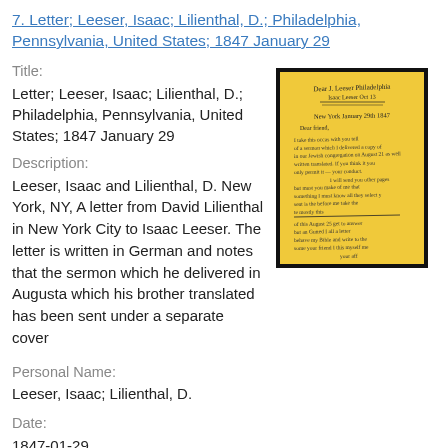7. Letter; Leeser, Isaac; Lilienthal, D.; Philadelphia, Pennsylvania, United States; 1847 January 29
Title:
Letter; Leeser, Isaac; Lilienthal, D.; Philadelphia, Pennsylvania, United States; 1847 January 29
[Figure (photo): Photograph of a handwritten letter on yellow paper with black ink, showing cursive script text in German]
Description:
Leeser, Isaac and Lilienthal, D. New York, NY, A letter from David Lilienthal in New York City to Isaac Leeser. The letter is written in German and notes that the sermon which he delivered in Augusta which his brother translated has been sent under a separate cover
Personal Name:
Leeser, Isaac; Lilienthal, D.
Date:
1847-01-29
Language:
English; German
Rights: